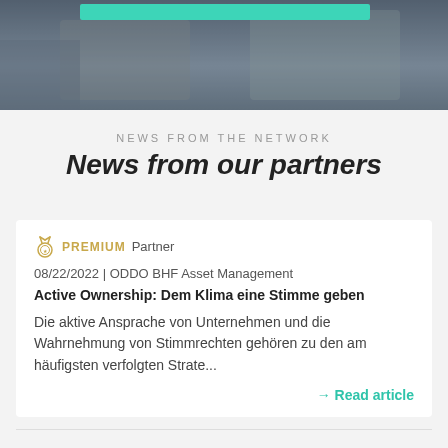[Figure (photo): Photo of two people in business suits shaking hands or using a tablet, with a teal accent bar overlay at the top]
NEWS FROM THE NETWORK
News from our partners
PREMIUM Partner
08/22/2022 | ODDO BHF Asset Management
Active Ownership: Dem Klima eine Stimme geben
Die aktive Ansprache von Unternehmen und die Wahrnehmung von Stimmrechten gehören zu den am häufigsten verfolgten Strate...
→ Read article